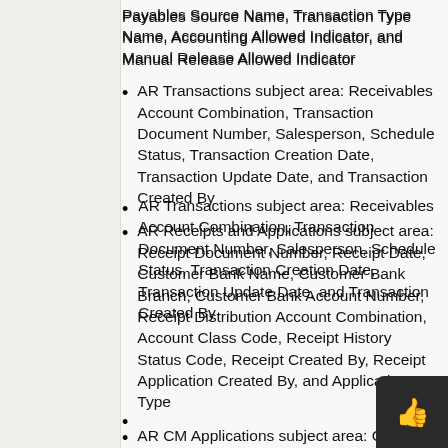Payables Source Name, Transaction Type Name, Accounting Allowed Indicator, and Manual Release Allowed Indicator
AR Transactions subject area: Receivables Account Combination, Transaction Document Number, Salesperson, Schedule Status, Transaction Creation Date, Transaction Update Date, and Transaction Created By
AR Receipts and Applications subject area: Receipt Document Number, Receipt Date, Customer Bank Name, Customer Bank Branch, Customer Bank Account Number, Receipt Distribution Account Combination, Account Class Code, Receipt History Status Code, Receipt Created By, Receipt Application Created By, and Application Type
AR CM Applications subject area: Credit Memo Application